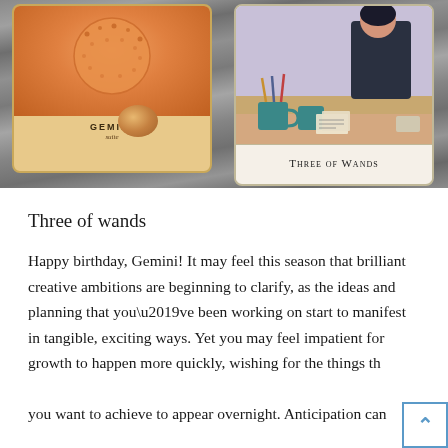[Figure (photo): Photo of two tarot cards on a wooden table background. Left card shows a partial Gemini card with orange sun motif labeled 'GEMINI' and 'suite'. Right card shows 'Three of Wands' with an illustration of a figure at a desk with mugs and art supplies. An orange crystal/stone sits on the table between the cards.]
Three of wands
Happy birthday, Gemini! It may feel this season that brilliant creative ambitions are beginning to clarify, as the ideas and planning that you’ve been working on start to manifest in tangible, exciting ways. Yet you may feel impatient for growth to happen more quickly, wishing for the things that you want to achieve to appear overnight. Anticipation can